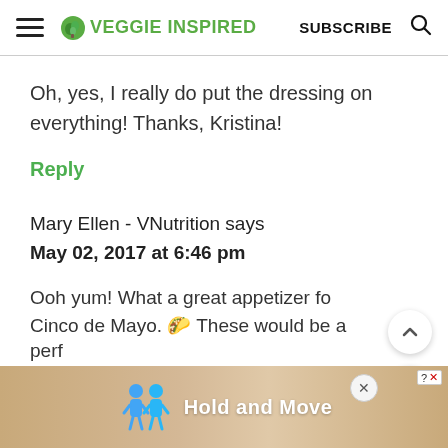VEGGIE INSPIRED | SUBSCRIBE
Oh, yes, I really do put the dressing on everything! Thanks, Kristina!
Reply
Mary Ellen - VNutrition says
May 02, 2017 at 6:46 pm
Ooh yum! What a great appetizer fo Cinco de Mayo. 🌮 These would be a perf
[Figure (screenshot): Ad banner with animated figures and text 'Hold and Move' with close buttons]